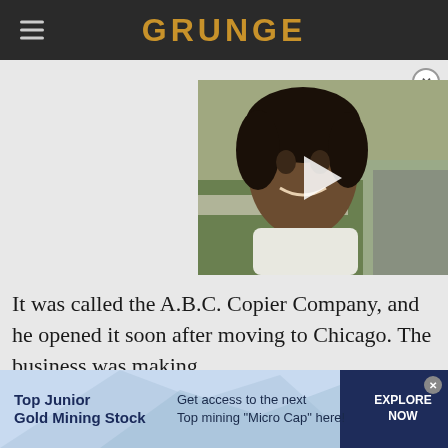GRUNGE
[Figure (photo): Video thumbnail showing a man with curly dark hair smiling at camera, outdoors setting, with a play button overlay]
It was called the A.B.C. Copier Company, and he opened it soon after moving to Chicago. The business was making
[Figure (infographic): Advertisement banner: Top Junior Gold Mining Stock - Get access to the next Top mining "Micro Cap" here! - EXPLORE NOW]